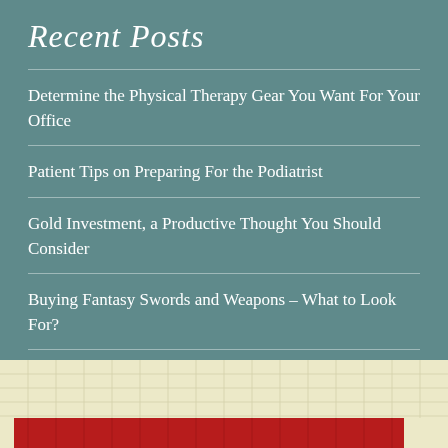Recent Posts
Determine the Physical Therapy Gear You Want For Your Office
Patient Tips on Preparing For the Podiatrist
Gold Investment, a Productive Thought You Should Consider
Buying Fantasy Swords and Weapons – What to Look For?
55 Gallon Drum – The Right Kind of Containment for Such Heavy
[Figure (other): Bottom panel with a light yellow/beige grid background and a red horizontal bar at the bottom, partially visible]